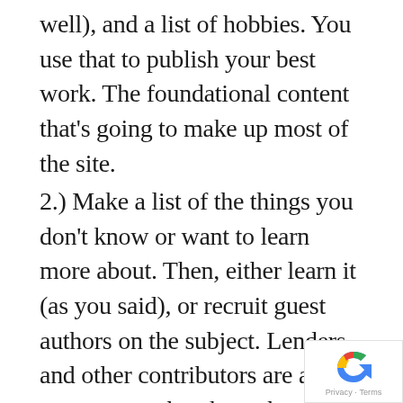well), and a list of hobbies. You use that to publish your best work. The foundational content that's going to make up most of the site.
2.) Make a list of the things you don't know or want to learn more about. Then, either learn it (as you said), or recruit guest authors on the subject. Lenders and other contributors are a great way to break-up the workload 🙂